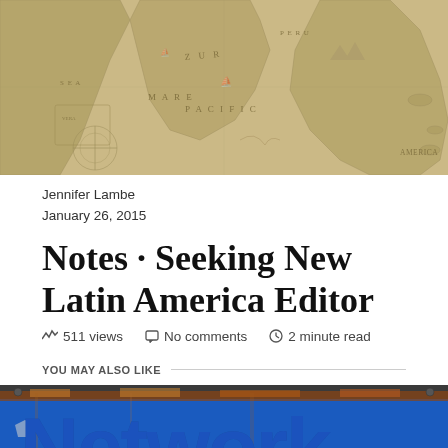[Figure (map): Historical antique map of South America with Latin text, sepia tones, showing Pacific Ocean and surrounding regions]
Jennifer Lambe
January 26, 2015
Notes · Seeking New Latin America Editor
511 views   No comments   2 minute read
YOU MAY ALSO LIKE
[Figure (photo): Blue sign with large text reading 'Network', showing rust and weathering at top edge]